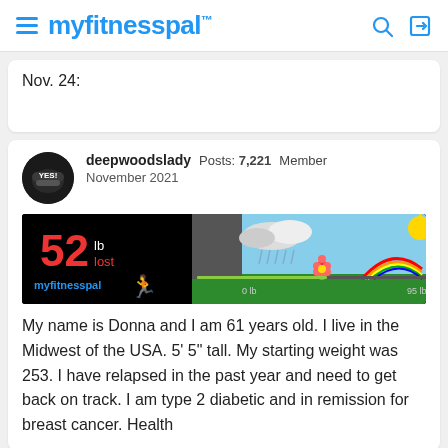myfitnesspal
Nov. 24:
deepwoodslady  Posts: 7,221  Member
November 2021
[Figure (infographic): MyFitnessPal weight loss ticker showing 52 lb lost, with a progress bar graphic showing rain clouds on the left and sunshine/rainbow on the right, a flower marker indicating current position.]
My name is Donna and I am 61 years old. I live in the Midwest of the USA. 5' 5" tall. My starting weight was 253. I have relapsed in the past year and need to get back on track. I am type 2 diabetic and in remission for breast cancer. Health